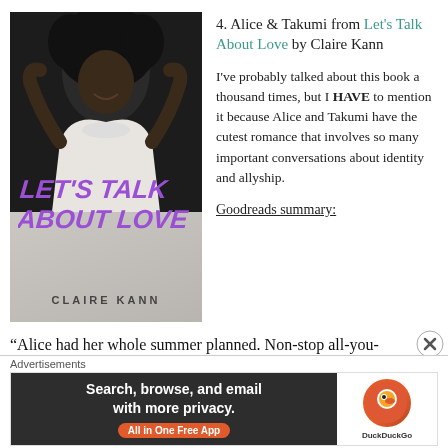[Figure (photo): Book cover of 'Let's Talk About Love' by Claire Kann, showing a young Black woman with a large afro, smiling, wearing a white halter top, with purple graffiti-style title text on the cover.]
4. Alice & Takumi from Let's Talk About Love by Claire Kann
I've probably talked about this book a thousand times, but I HAVE to mention it because Alice and Takumi have the cutest romance that involves so many important conversations about identity and allyship.
Goodreads summary:
“Alice had her whole summer planned. Non-stop all-you-
Advertisements
[Figure (screenshot): DuckDuckGo advertisement banner: dark left panel with text 'Search, browse, and email with more privacy. All in One Free App' and orange pill button; right panel shows DuckDuckGo logo on white background.]